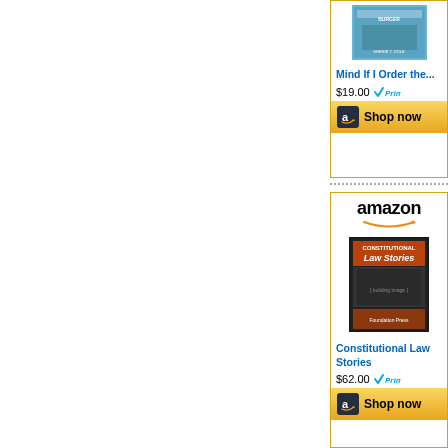[Figure (other): Amazon advertisement card for book 'Mind If I Order the...' priced at $19.00 with Prime badge and Shop now button]
[Figure (other): Amazon advertisement card for book 'Constitutional Law Stories' priced at $62.00 with Prime badge and Shop now button]